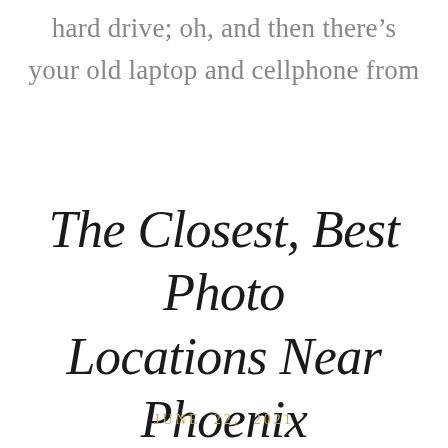hard drive; oh, and then there's your old laptop and cellphone from
The Closest, Best Photo Locations Near Phoenix
JUNE 22, 2021